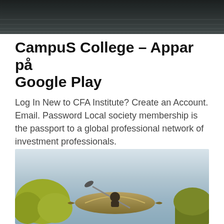[Figure (photo): Dark water surface photo at the top of the page]
CampuS College – Appar på Google Play
Log In New to CFA Institute? Create an Account. Email. Password Local society membership is the passport to a global professional network of investment professionals.
[Figure (photo): Outdoor photo showing a kayak with sunlight, trees with yellow-green leaves, and a calm water background with a person holding a paddle]